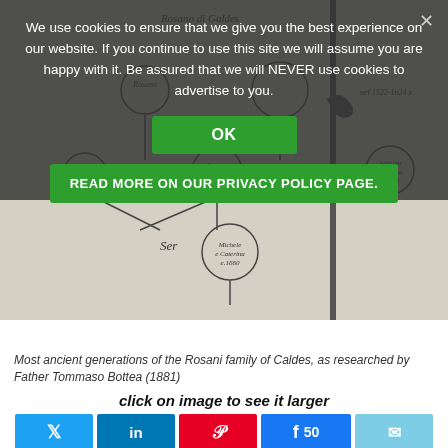We use cookies to ensure that we give you the best experience on our website. If you continue to use this site we will assume you are happy with it. Be assured that we will NEVER use cookies to advertise to you.
[Figure (screenshot): Cookie consent banner overlay with OK button and READ MORE ON OUR PRIVACY POLICY PAGE button, overlaid on a scanned historical genealogy document showing handwritten family tree circles and connecting lines (Rosani family of Caldes). An X close button is visible in the top right of the overlay.]
Most ancient generations of the Rosani family of Caldes, as researched by Father Tommaso Bottea (1881)
click on image to see it larger
Social share buttons: Twitter, LinkedIn, Pinterest, Facebook (50), Email